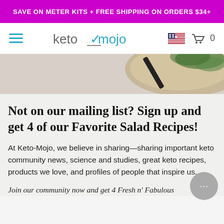SAVE ON METER KITS + FREE SHIPPING ON ORDERS $34+
[Figure (logo): Keto Mojo logo with hamburger menu and US flag and cart icon navigation bar]
[Figure (photo): Partial image of a salad or pizza dish viewed from above]
Not on our mailing list? Sign up and get 4 of our Favorite Salad Recipes!
At Keto-Mojo, we believe in sharing—sharing important keto community news, science and studies, great keto recipes, products we love, and profiles of people that inspire us.
Join our community now and get 4 Fresh n' Fabulous